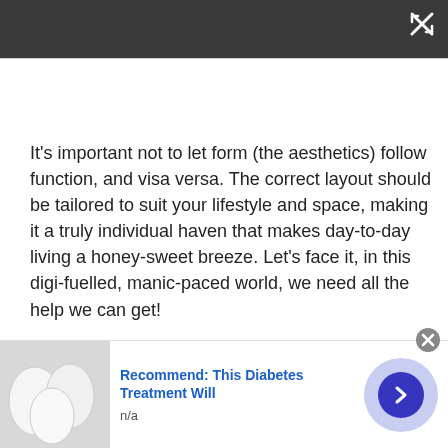[Figure (screenshot): Dark gray top navigation bar with close/expand icon (X with arrows) in top-right corner]
It’s important not to let form (the aesthetics) follow function, and visa versa. The correct layout should be tailored to suit your lifestyle and space, making it a truly individual haven that makes day-to-day living a honey-sweet breeze. Let’s face it, in this digi-fuelled, manic-paced world, we need all the help we can get!
Susan Serra of Susan Serra Associates, Inc. comments:
[Figure (screenshot): Advertisement banner: image of white eggs on left, text 'Recommend: This Diabetes Treatment Will' in blue bold, 'n/a' below, purple circle with arrow on right, close button top-right]